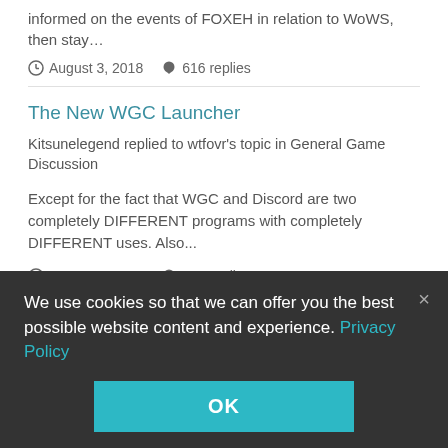informed on the events of FOXEH in relation to WoWS, then stay…
August 3, 2018   616 replies
The New WGC Launcher
Kitsunelegend replied to wtfovr's topic in General Game Discussion
Except for the fact that WGC and Discord are two completely DIFFERENT programs with completely DIFFERENT uses. Also...
August 3, 2018   616 replies
We use cookies so that we can offer you the best possible website content and experience. Privacy Policy
OK